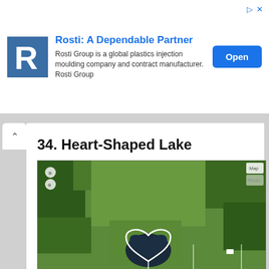[Figure (screenshot): Advertisement banner: Rosti logo (blue square with white R), heading 'Rosti: A Dependable Partner', description text 'Rosti Group is a global plastics injection moulding company and contract manufacturer. Rosti Group', and a blue 'Open' button on the right. Small ad icons in top-right corner.]
34. Heart-Shaped Lake
[Figure (photo): Google Earth aerial/satellite photo showing a heart-shaped lake in a rural green landscape with fields, trees, and a road along the bottom. Google earth watermark in lower right.]